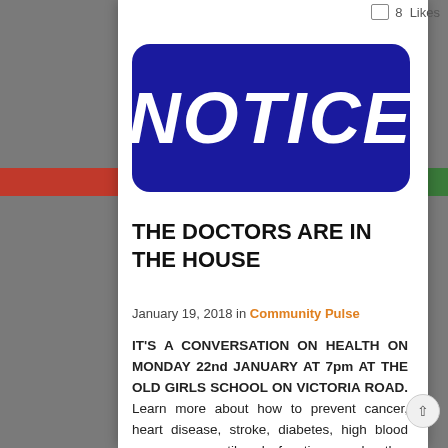8 Likes
[Figure (illustration): Dark navy blue rounded rectangle banner with white bold italic text reading NOTICE]
THE DOCTORS ARE IN THE HOUSE
January 19, 2018 in Community Pulse
IT'S A CONVERSATION ON HEALTH ON MONDAY 22nd JANUARY AT 7pm AT THE OLD GIRLS SCHOOL ON VICTORIA ROAD. Learn more about how to prevent cancer, heart disease, stroke, diabetes, high blood pressure, erectile dysfunction, and other health issues. Learn about how to reduce